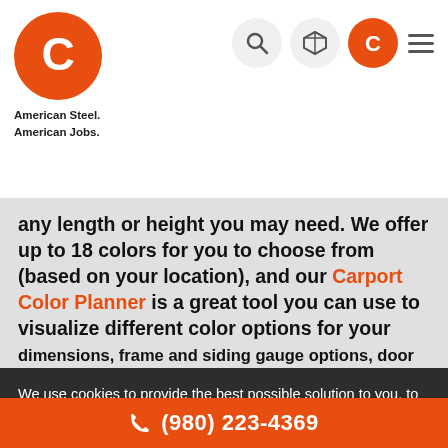[Figure (logo): CentSteelCarports orange circular logo with stylized C letter, with tagline 'American Steel. American Jobs.' below]
any length or height you may need. We offer up to 18 colors for you to choose from (based on your location), and our Carport Color Planner is a great tool you can use to visualize different color options for your carport or building.

We can design and install certified metal carports in
We use cookies to provide the best possible solution to you, to personalize content and ads, to show you the best products or services you're looking for. For more details visit Privacy Policy.
OK, THANKS
dimensions, frame and siding gauge options, door options
(980) 223-4369